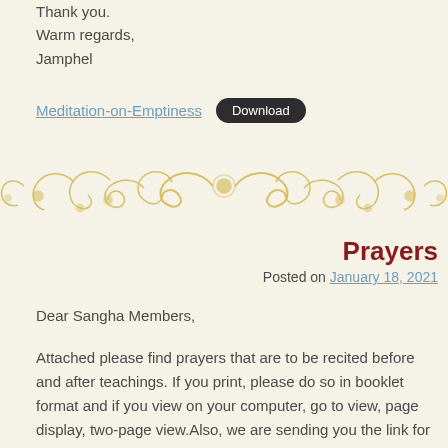Thank you.
Warm regards,
Jamphel
Meditation-on-Emptiness  Download
[Figure (illustration): Decorative golden floral/scroll divider border]
Prayers
Posted on January 18, 2021
Dear Sangha Members,
Attached please find prayers that are to be recited before and after teachings. If you print, please do so in booklet format and if you view on your computer, go to view, page display, two-page view.Also, we are sending you the link for tomorrow's Zoom class below for your easy